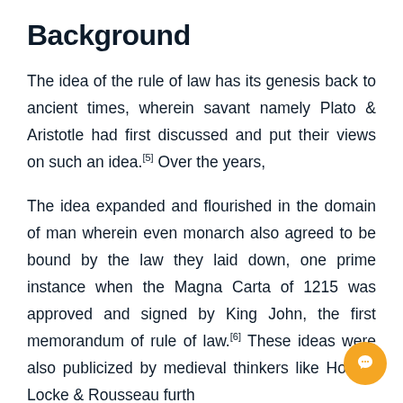Background
The idea of the rule of law has its genesis back to ancient times, wherein savant namely Plato & Aristotle had first discussed and put their views on such an idea.[5] Over the years,
The idea expanded and flourished in the domain of man wherein even monarch also agreed to be bound by the law they laid down, one prime instance when the Magna Carta of 1215 was approved and signed by King John, the first memorandum of rule of law.[6] These ideas were also publicized by medieval thinkers like Hobbs, Locke & Rousseau further propagated. Even Indian savant Chanakya had also